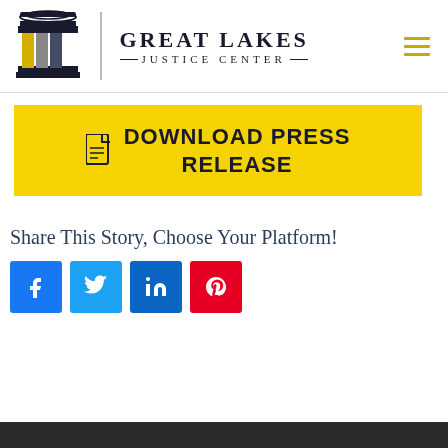[Figure (logo): Great Lakes Justice Center logo with columned icon and text]
DOWNLOAD PRESS RELEASE
Share This Story, Choose Your Platform!
[Figure (infographic): Social media share buttons: Facebook, Twitter, LinkedIn, Pinterest]